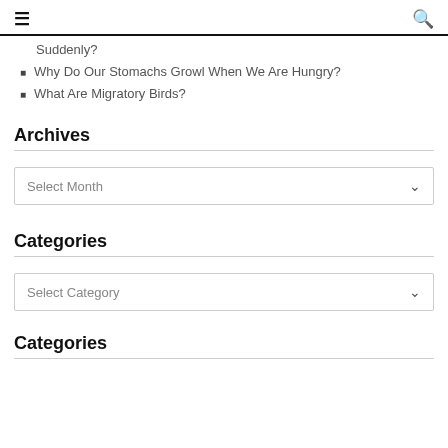≡  🔍
Suddenly?
Why Do Our Stomachs Growl When We Are Hungry?
What Are Migratory Birds?
Archives
Select Month
Categories
Select Category
Categories